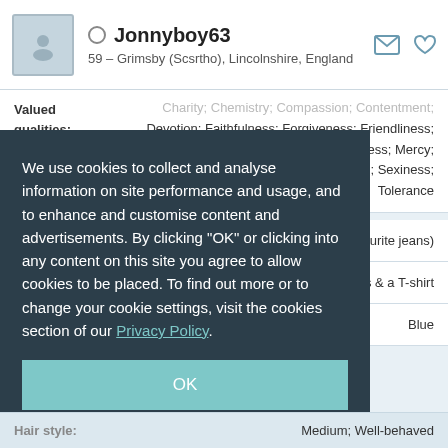Jonnyboy63 — 59 – Grimsby (Scsrtho), Lincolnshire, England
Valued qualities: Charity; Chemistry; Compassion; Contentment; Devotion; Faithfulness; Forgiveness; Friendliness; Honesty; Hope; Humility; Humour; Kindness; Mercy; Moderation; Patience; Self-control; Sexiness; Tolerance
favourite jeans)
horts & a T-shirt
Blue
We use cookies to collect and analyse information on site performance and usage, and to enhance and customise content and advertisements. By clicking "OK" or clicking into any content on this site you agree to allow cookies to be placed. To find out more or to change your cookie settings, visit the cookies section of our Privacy Policy.
OK
Hair style: Medium; Well-behaved